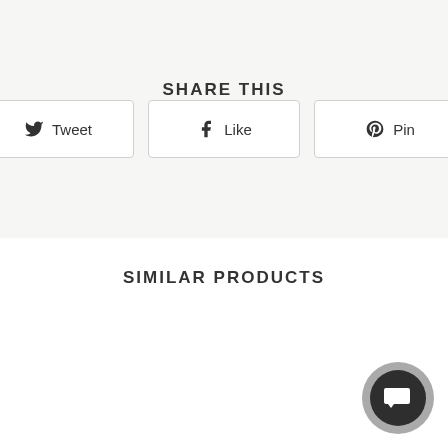SHARE THIS
Tweet
Like
Pin
SIMILAR PRODUCTS
[Figure (illustration): Chat bubble icon button in bottom-right corner, circular gray background with dark speech bubble icon]